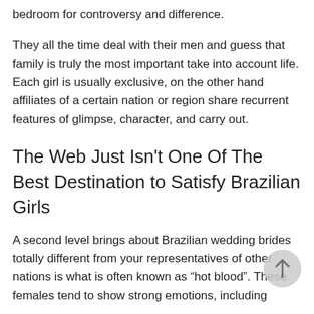bedroom for controversy and difference.
They all the time deal with their men and guess that family is truly the most important take into account life. Each girl is usually exclusive, on the other hand affiliates of a certain nation or region share recurrent features of glimpse, character, and carry out.
The Web Just Isn't One Of The Best Destination to Satisfy Brazilian Girls
A second level brings about Brazilian wedding brides totally different from your representatives of other nations is what is often known as “hot blood”. These females tend to show strong emotions, including